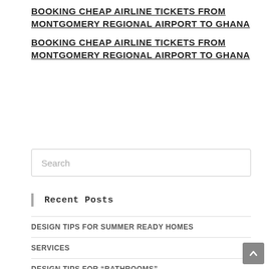BOOKING CHEAP AIRLINE TICKETS FROM MONTGOMERY REGIONAL AIRPORT TO GHANA
BOOKING CHEAP AIRLINE TICKETS FROM MONTGOMERY REGIONAL AIRPORT TO GHANA
Search
Recent Posts
DESIGN TIPS FOR SUMMER READY HOMES
SERVICES
DESIGN TIPS FOR "BATHROOMS"
DESIGN TIPS – TOILET
PARTITIONS…..a decor enhancer